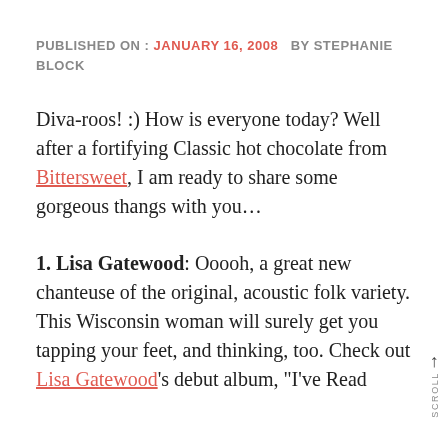PUBLISHED ON : JANUARY 16, 2008   BY STEPHANIE BLOCK
Diva-roos! :) How is everyone today? Well after a fortifying Classic hot chocolate from Bittersweet, I am ready to share some gorgeous thangs with you…
1. Lisa Gatewood: Ooooh, a great new chanteuse of the original, acoustic folk variety. This Wisconsin woman will surely get you tapping your feet, and thinking, too. Check out Lisa Gatewood's debut album, "I've Read